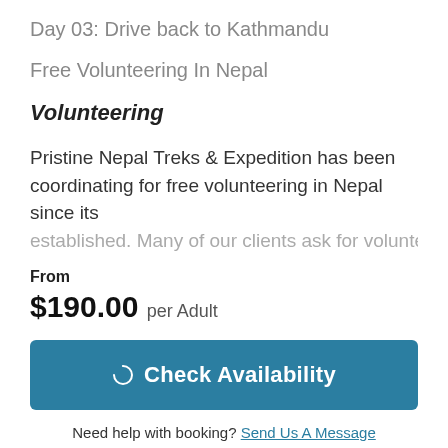Day 03: Drive back to Kathmandu
Free Volunteering In Nepal
Volunteering
Pristine Nepal Treks & Expedition has been coordinating for free volunteering in Nepal since its established. Many of our clients ask for volunteering
From
$190.00 per Adult
[Figure (other): Check Availability button with spinner icon on teal background]
Need help with booking? Send Us A Message